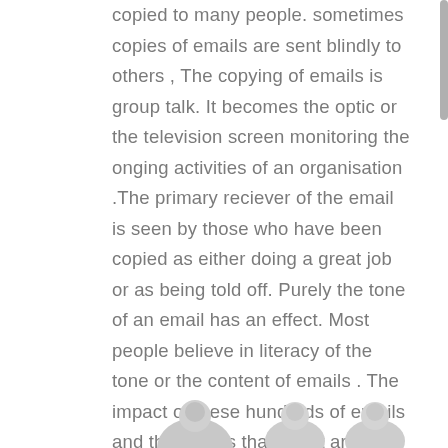copied to many people. sometimes copies of emails are sent blindly to others , The copying of emails is group talk. It becomes the optic or the television screen monitoring the onging activities of an organisation .The primary reciever of the email is seen by those who have been copied as either doing a great job or as being told off. Purely the tone of an email has an effect. Most people believe in literacy of the tone or the content of emails . The impact of these hundreds of emails and the stories that result around them creates the culture of an organisation or a society.
[Figure (illustration): Partial view of illustrated figures (people icons) at the bottom of the page, shown in grayscale/silver tones, partially cropped]